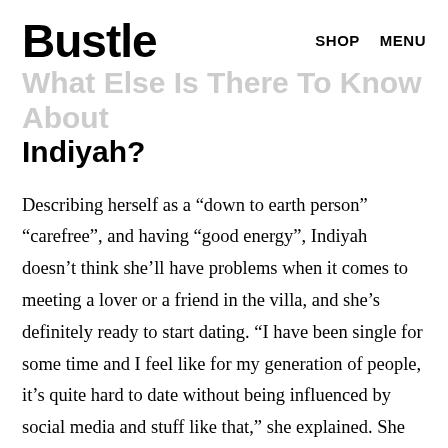Bustle   SHOP   MENU
What Else Is There To Know About Indiyah?
Describing herself as a “down to earth person” “carefree”, and having “good energy”, Indiyah doesn’t think she’ll have problems when it comes to meeting a lover or a friend in the villa, and she’s definitely ready to start dating. “I have been single for some time and I feel like for my generation of people, it’s quite hard to date without being influenced by social media and stuff like that,” she explained. She went on to say that because the villa is a closed off space, it will be “a great place to get to know someone one-on-one and build a real connection.”